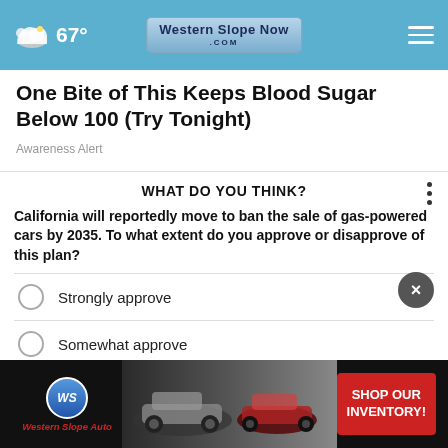67° Western Slope Now .com
One Bite of This Keeps Blood Sugar Below 100 (Try Tonight)
Awareness Alert
WHAT DO YOU THINK?
California will reportedly move to ban the sale of gas-powered cars by 2035. To what extent do you approve or disapprove of this plan?
Strongly approve
Somewhat approve
[Figure (screenshot): Western Slope Auto advertisement with cars and SHOP OUR INVENTORY! CTA button]